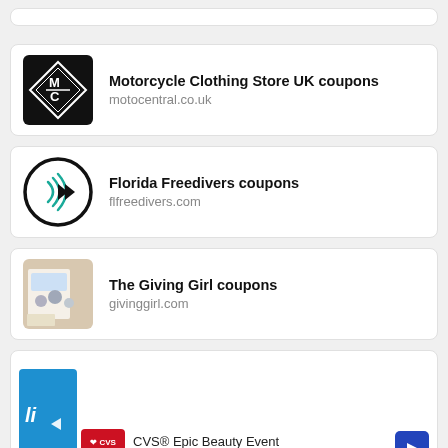[Figure (other): Partial top card, cut off at top of page]
Motorcycle Clothing Store UK coupons
motocentral.co.uk
Florida Freedivers coupons
flfreedivers.com
The Giving Girl coupons
givinggirl.com
[Figure (other): Partial bottom card with ad overlay: CVS Epic Beauty Event by CVS]